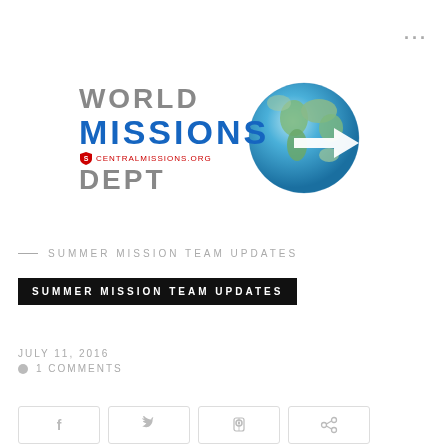[Figure (logo): World Missions Dept logo with globe and arrow]
SUMMER MISSION TEAM UPDATES
SUMMER MISSION TEAM UPDATES
JULY 11, 2016
1 COMMENTS
[Figure (other): Social share buttons for Facebook, Twitter, Pinterest, and share]